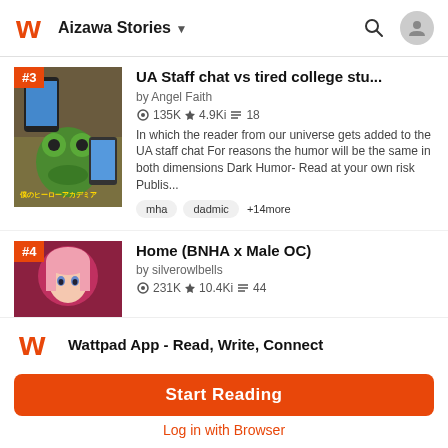Aizawa Stories
UA Staff chat vs tired college stu...
by Angel Faith
135K ★4.9Ki≡18
In which the reader from our universe gets added to the UA staff chat For reasons the humor will be the same in both dimensions Dark Humor- Read at your own risk Publis...
mha  dadmic  +14more
Home (BNHA x Male OC)
by silverowlbells
231K ★10.4Ki≡44
Wattpad App - Read, Write, Connect
Start Reading
Log in with Browser